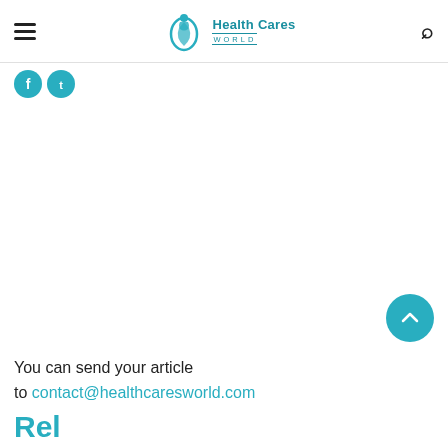Health Cares World
[Figure (logo): Health Cares World logo with teal flame/leaf icon and text]
[Figure (illustration): Two teal social media icon circles (e.g. Facebook and Twitter)]
[Figure (illustration): Teal scroll-to-top button with upward chevron arrow]
You can send your article to contact@healthcaresworld.com
Related